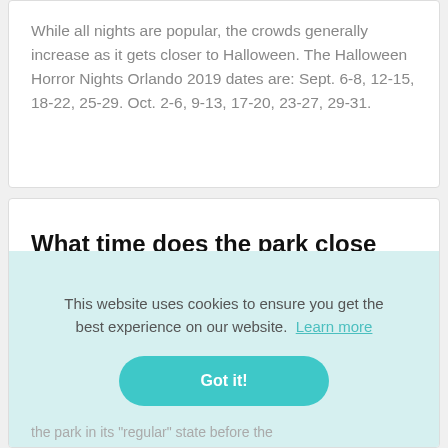While all nights are popular, the crowds generally increase as it gets closer to Halloween. The Halloween Horror Nights Orlando 2019 dates are: Sept. 6-8, 12-15, 18-22, 25-29. Oct. 2-6, 9-13, 17-20, 23-27, 29-31.
What time does the park close for Mickey's Halloween party?
This website uses cookies to ensure you get the best experience on our website. Learn more
the park in its "regular" state before the